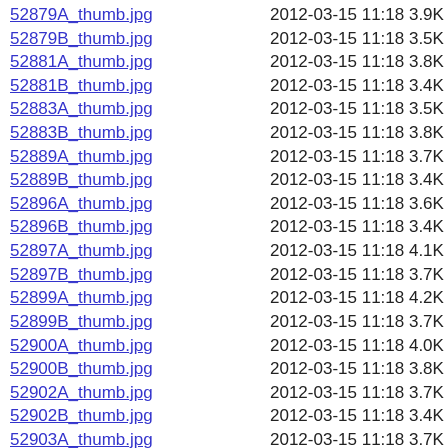52879A_thumb.jpg  2012-03-15 11:18 3.9K
52879B_thumb.jpg  2012-03-15 11:18 3.5K
52881A_thumb.jpg  2012-03-15 11:18 3.8K
52881B_thumb.jpg  2012-03-15 11:18 3.4K
52883A_thumb.jpg  2012-03-15 11:18 3.5K
52883B_thumb.jpg  2012-03-15 11:18 3.8K
52889A_thumb.jpg  2012-03-15 11:18 3.7K
52889B_thumb.jpg  2012-03-15 11:18 3.4K
52896A_thumb.jpg  2012-03-15 11:18 3.6K
52896B_thumb.jpg  2012-03-15 11:18 3.4K
52897A_thumb.jpg  2012-03-15 11:18 4.1K
52897B_thumb.jpg  2012-03-15 11:18 3.7K
52899A_thumb.jpg  2012-03-15 11:18 4.2K
52899B_thumb.jpg  2012-03-15 11:18 3.7K
52900A_thumb.jpg  2012-03-15 11:18 4.0K
52900B_thumb.jpg  2012-03-15 11:18 3.8K
52902A_thumb.jpg  2012-03-15 11:18 3.7K
52902B_thumb.jpg  2012-03-15 11:18 3.4K
52903A_thumb.jpg  2012-03-15 11:18 3.7K
52903B_thumb.jpg  2012-03-15 11:18 3.4K
52905A_thumb.jpg  2012-03-15 11:18 3.4K